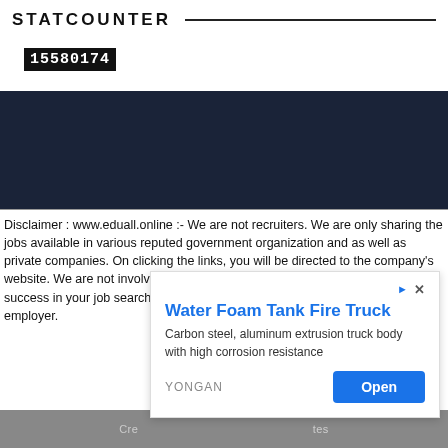STATCOUNTER
15580174
[Figure (other): Dark navy blue banner/background section]
Disclaimer : www.eduall.online :- We are not recruiters. We are only sharing the jobs available in various reputed government organization and as well as private companies. On clicking the links, you will be directed to the company's website. We are not involved in any stage of recruitment. Wishing you all success in your job search. We will not collect money either from employee or employer.
[Figure (other): Advertisement overlay: Water Foam Tank Fire Truck - Carbon steel, aluminum extrusion truck body with high corrosion resistance. YONGAN brand with Open button.]